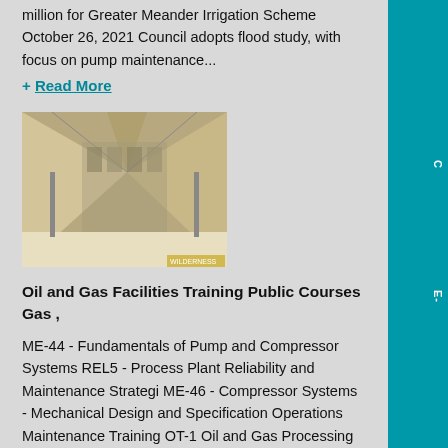million for Greater Meander Irrigation Scheme October 26, 2021 Council adopts flood study, with focus on pump maintenance...
+ Read More
[Figure (photo): Interior view of a large tent or temporary structure with fabric draped from a central ridge, supported by poles, with industrial or storage area visible in background]
Oil and Gas Facilities Training Public Courses Gas ,
ME-44 - Fundamentals of Pump and Compressor Systems REL5 - Process Plant Reliability and Maintenance Strategi ME-46 - Compressor Systems - Mechanical Design and Specification Operations Maintenance Training OT-1 Oil and Gas Processing Facilities for Operations Maintenance OT-43 LNG Facilities for Operations Maintenance...
+ Read More